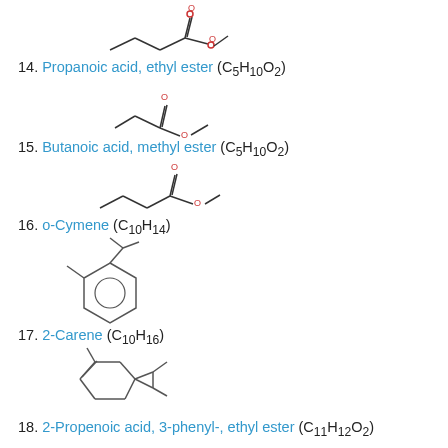[Figure (illustration): Skeletal structure of butyl acetate / propanoic acid ethyl ester - line drawing of ester]
14. Propanoic acid, ethyl ester (C5H10O2)
[Figure (illustration): Skeletal structure of butanoic acid methyl ester - line drawing of ester]
15. Butanoic acid, methyl ester (C5H10O2)
[Figure (illustration): Skeletal structure of another ester compound - line drawing]
16. o-Cymene (C10H14)
[Figure (illustration): Skeletal structure of o-Cymene - benzene ring with methyl and isopropyl substituents]
17. 2-Carene (C10H16)
[Figure (illustration): Skeletal structure of 2-Carene - bicyclic structure with methyl groups]
18. 2-Propenoic acid, 3-phenyl-, ethyl ester (C11H12O2)